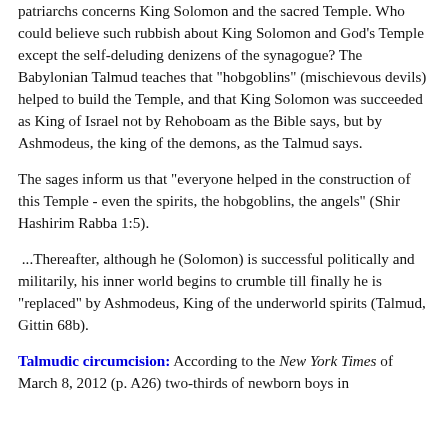patriarchs concerns King Solomon and the sacred Temple. Who could believe such rubbish about King Solomon and God's Temple except the self-deluding denizens of the synagogue? The Babylonian Talmud teaches that "hobgoblins" (mischievous devils) helped to build the Temple, and that King Solomon was succeeded as King of Israel not by Rehoboam as the Bible says, but by Ashmodeus, the king of the demons, as the Talmud says.
The sages inform us that "everyone helped in the construction of this Temple - even the spirits, the hobgoblins, the angels" (Shir Hashirim Rabba 1:5).
...Thereafter, although he (Solomon) is successful politically and militarily, his inner world begins to crumble till finally he is "replaced" by Ashmodeus, King of the underworld spirits (Talmud, Gittin 68b).
Talmudic circumcision: According to the New York Times of March 8, 2012 (p. A26) two-thirds of newborn boys in